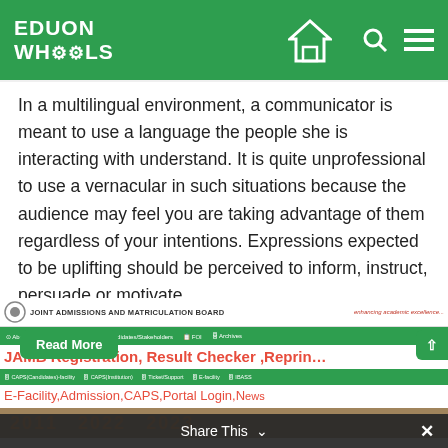EDUON WHOOLS
In a multilingual environment, a communicator is meant to use a language the people she is interacting with understand. It is quite unprofessional to use a vernacular in such situations because the audience may feel you are taking advantage of them regardless of your intentions. Expressions expected to be uplifting should be perceived to inform, instruct, persuade or motivate.
[Figure (screenshot): Screenshot of JAMB (Joint Admissions and Matriculation Board) website showing navigation menu, JAMB Registration Result Checker Reprint heading in red, sub-navigation in green, and E-Facility Admission CAPS Portal Login News text in red. A Read More button in green overlays the screenshot.]
[Figure (photo): Partial photo strip at bottom showing students or people, cropped, with year numbers visible (2021, 2022, 2023).]
Share This ∨ ×